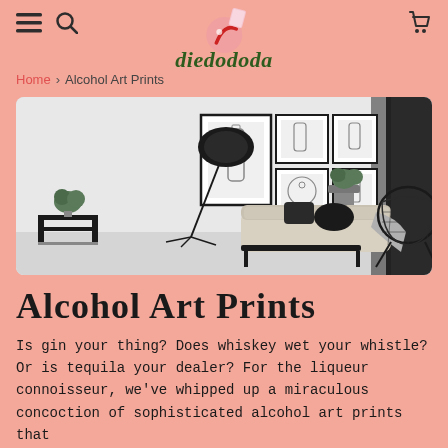diedododa — hamburger menu, search, cart icons
Home > Alcohol Art Prints
[Figure (photo): Interior living room scene with framed alcohol bottle art prints on the wall, a sofa with pillows, a floor lamp, plants, and a wicker chair. Black and white photography.]
Alcohol Art Prints
Is gin your thing? Does whiskey wet your whistle? Or is tequila your dealer? For the liqueur connoisseur, we've whipped up a miraculous concoction of sophisticated alcohol art prints that